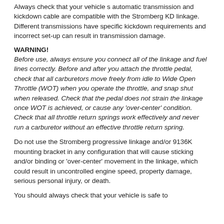Always check that your vehicle s automatic transmission and kickdown cable are compatible with the Stromberg KD linkage. Different transmissions have specific kickdown requirements and incorrect set-up can result in transmission damage.
WARNING!
Before use, always ensure you connect all of the linkage and fuel lines correctly. Before and after you attach the throttle pedal, check that all carburetors move freely from idle to Wide Open Throttle (WOT) when you operate the throttle, and snap shut when released. Check that the pedal does not strain the linkage once WOT is achieved, or cause any 'over-center' condition. Check that all throttle return springs work effectively and never run a carburetor without an effective throttle return spring.
Do not use the Stromberg progressive linkage and/or 9136K mounting bracket in any configuration that will cause sticking and/or binding or 'over-center' movement in the linkage, which could result in uncontrolled engine speed, property damage, serious personal injury, or death.
You should always check that your vehicle is safe to...